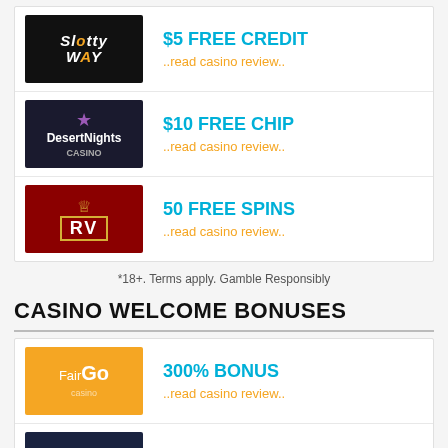| Logo | Offer |
| --- | --- |
| SlottyWay | $5 FREE CREDIT
..read casino review.. |
| DesertNights | $10 FREE CHIP
..read casino review.. |
| RV Casino | 50 FREE SPINS
..read casino review.. |
*18+. Terms apply. Gamble Responsibly
CASINO WELCOME BONUSES
| Logo | Offer |
| --- | --- |
| FairGo Casino | 300% BONUS
..read casino review.. |
| Frank Casino | 150% BONUS
..read casino review.. |
| Spin Casino | $1000 BONUS
..read casino review.. |